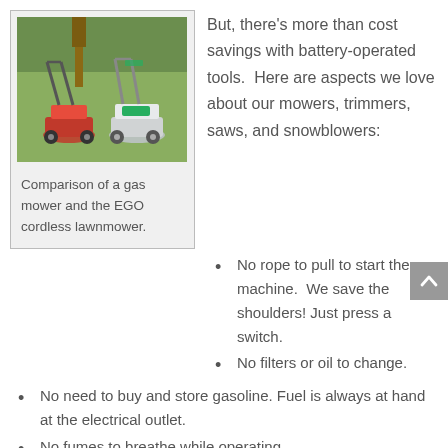[Figure (photo): Comparison photo of a gas mower and the EGO cordless lawnmower side by side on green grass.]
Comparison of a gas mower and the EGO cordless lawnmower.
But, there's more than cost savings with battery-operated tools.  Here are aspects we love about our mowers, trimmers, saws, and snowblowers:
No rope to pull to start the machine.  We save the shoulders! Just press a switch.
No filters or oil to change.
No need to buy and store gasoline. Fuel is always at hand at the electrical outlet.
No fumes to breathe while operating.
No noisy internal gas explosions. Battery electric machines are quiet.
Easy to fold and store.